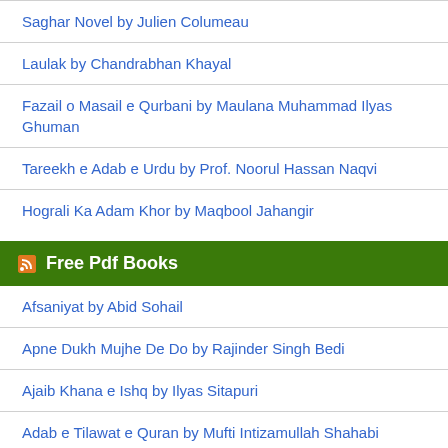Saghar Novel by Julien Columeau
Laulak by Chandrabhan Khayal
Fazail o Masail e Qurbani by Maulana Muhammad Ilyas Ghuman
Tareekh e Adab e Urdu by Prof. Noorul Hassan Naqvi
Hograli Ka Adam Khor by Maqbool Jahangir
Free Pdf Books
Afsaniyat by Abid Sohail
Apne Dukh Mujhe De Do by Rajinder Singh Bedi
Ajaib Khana e Ishq by Ilyas Sitapuri
Adab e Tilawat e Quran by Mufti Intizamullah Shahabi
Jismani Bemarion ka Qurani ilaj by Muhammad Haseeb Qadri
Bismillah Se Mushkilat Ka Hal by Iqbal Ahmed Madni
Surah Kausar Ke Karishmat by Hakeem Mhuammad Taiq Mahmood
Amliyat Kashaish e Rizq in Urdu